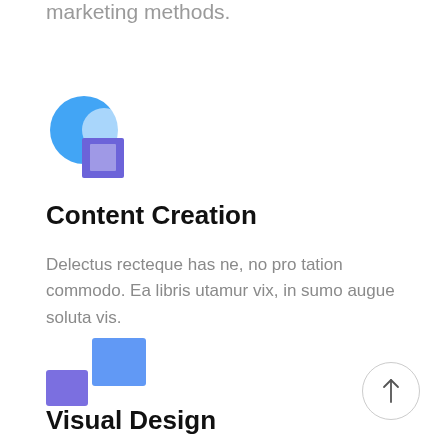marketing methods.
[Figure (logo): Abstract icon with a blue circle overlapping a white circle and a purple/indigo square, representing Content Creation]
Content Creation
Delectus recteque has ne, no pro tation commodo. Ea libris utamur vix, in sumo augue soluta vis.
[Figure (logo): Abstract icon with two overlapping squares in blue and purple/indigo, representing Visual Design]
Visual Design